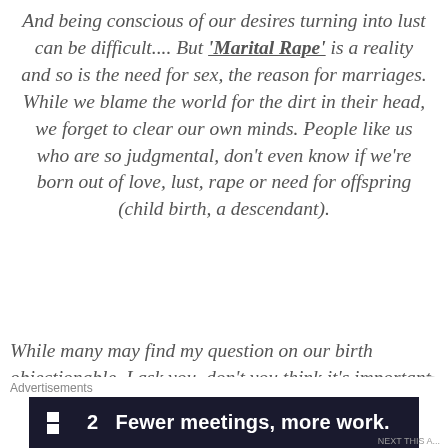And being conscious of our desires turning into lust can be difficult.... But 'Marital Rape' is a reality and so is the need for sex, the reason for marriages. While we blame the world for the dirt in their head, we forget to clear our own minds. People like us who are so judgmental, don't even know if we're born out of love, lust, rape or need for offspring (child birth, a descendant).
While many may find my question on our birth objectionable. I ask you, don't you think it's important to know? I think, it is. While I don't have the courage to put forth this question. No, I'm not that bold enough. But, I know, many of us aren't
Advertisements  ▪2  Fewer meetings, more work.